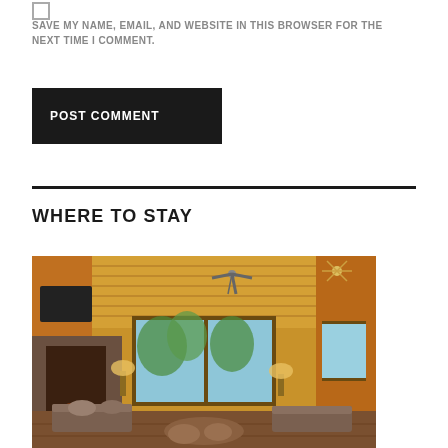SAVE MY NAME, EMAIL, AND WEBSITE IN THIS BROWSER FOR THE NEXT TIME I COMMENT.
POST COMMENT
WHERE TO STAY
[Figure (photo): Interior of a log cabin living room with wood-paneled ceiling, ceiling fan, stone fireplace, large windows with outdoor view, and brown leather couches around a round coffee table.]